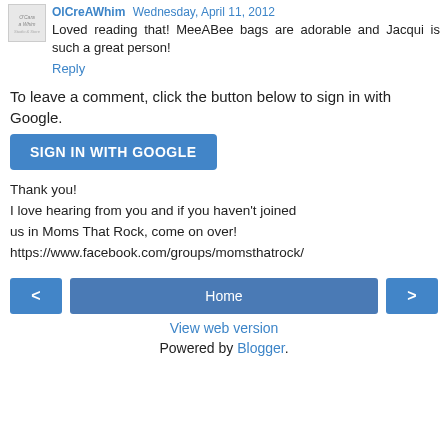OlCreAWhim Wednesday, April 11, 2012
Loved reading that! MeeABee bags are adorable and Jacqui is such a great person!
Reply
To leave a comment, click the button below to sign in with Google.
SIGN IN WITH GOOGLE
Thank you!
I love hearing from you and if you haven't joined us in Moms That Rock, come on over!
https://www.facebook.com/groups/momsthatrock/
< Home >
View web version
Powered by Blogger.